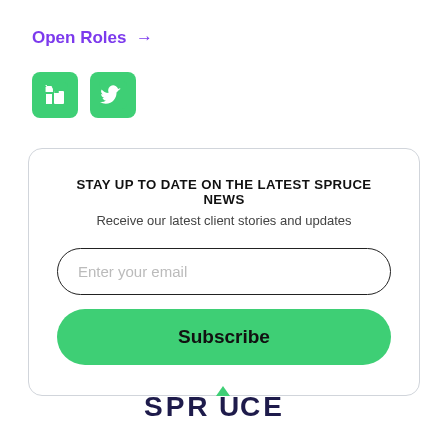Open Roles →
[Figure (logo): LinkedIn and Twitter social media icons in green rounded squares]
STAY UP TO DATE ON THE LATEST SPRUCE NEWS
Receive our latest client stories and updates
Enter your email
Subscribe
[Figure (logo): Spruce company logo with green roof/hat accent over the U in SPRUCE, dark navy wordmark]